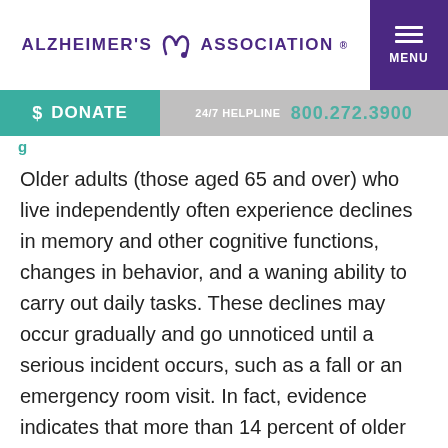ALZHEIMER'S ASSOCIATION® — MENU
$ DONATE  24/7 HELPLINE  800.272.3900
Older adults (those aged 65 and over) who live independently often experience declines in memory and other cognitive functions, changes in behavior, and a waning ability to carry out daily tasks. These declines may occur gradually and go unnoticed until a serious incident occurs, such as a fall or an emergency room visit. In fact, evidence indicates that more than 14 percent of older adults